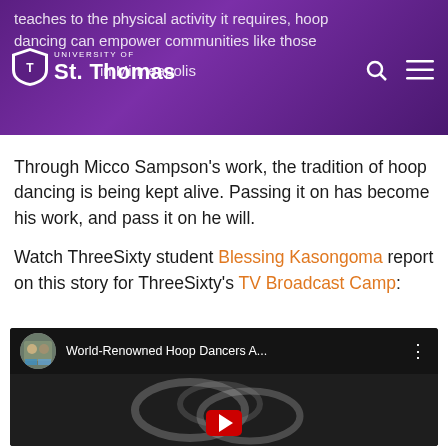teaches to the physical activity it requires, hoop dancing can empower communities like those in Native American Minneapolis — University of St. Thomas
Through Micco Sampson's work, the tradition of hoop dancing is being kept alive. Passing it on has become his work, and pass it on he will.
Watch ThreeSixty student Blessing Kasongoma report on this story for ThreeSixty's TV Broadcast Camp:
[Figure (screenshot): YouTube video embed showing 'World-Renowned Hoop Dancers A...' with circular thumbnail of two people, dark background, and red YouTube play button]